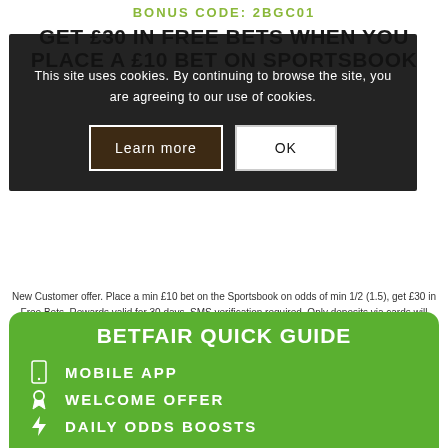BONUS CODE: 2BGC01
GET £30 IN FREE BETS WHEN YOU PLACE A £10 BET ON SPORTSBOOK
This site uses cookies. By continuing to browse the site, you are agreeing to our use of cookies.
Learn more | OK
New Customer offer. Place a min £10 bet on the Sportsbook on odds of min 1/2 (1.5), get £30 in Free Bets. Rewards valid for 30 days. SMS verification required. Only deposits via cards will qualify. T&Cs apply. Please Gamble Responsibly 18+ begambleaware.org. #ad.
BETFAIR QUICK GUIDE
MOBILE APP
WELCOME OFFER
DAILY ODDS BOOSTS